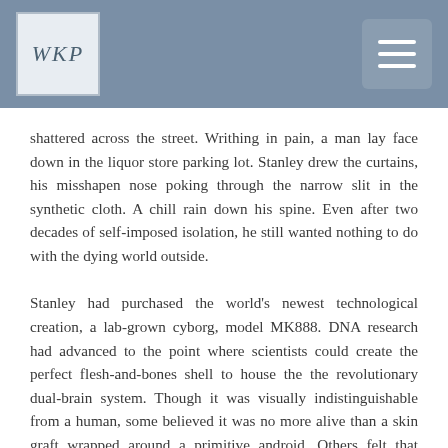WKP [logo] [navigation menu]
shattered across the street. Writhing in pain, a man lay face down in the liquor store parking lot. Stanley drew the curtains, his misshapen nose poking through the narrow slit in the synthetic cloth. A chill rain down his spine. Even after two decades of self-imposed isolation, he still wanted nothing to do with the dying world outside.
Stanley had purchased the world's newest technological creation, a lab-grown cyborg, model MK888. DNA research had advanced to the point where scientists could create the perfect flesh-and-bones shell to house the the revolutionary dual-brain system. Though it was visually indistinguishable from a human, some believed it was no more alive than a skin graft wrapped around a primitive android. Others felt that cyborgs were in the same category of beings